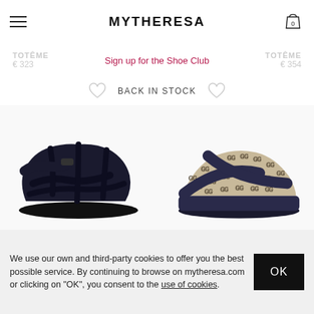MYTHERESA
TOTÈME  € 323    Sign up for the Shoe Club    TOTÈME  € 354
BACK IN STOCK
[Figure (photo): Two sandals displayed side by side: left is a dark navy leather fisherman sandal with chunky black sole; right is a beige/navy GG monogram canvas platform slide sandal.]
We use our own and third-party cookies to offer you the best possible service. By continuing to browse on mytheresa.com or clicking on "OK", you consent to the use of cookies.